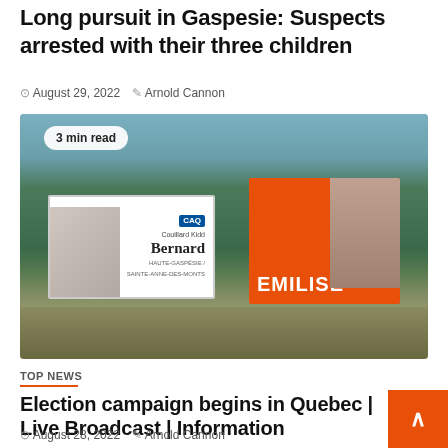Long pursuit in Gaspesie: Suspects arrested with their three children
August 29, 2022   Arnold Cannon
[Figure (photo): Outdoor photo showing two political campaign billboards. Left billboard is white with CAQ logo and text for Daniel Bernard. Right billboard is orange with the name EMILISE. Both are mounted on wooden posts in a grassy area with trees and water in background. A '3 min read' badge overlays the top-left of the image.]
TOP NEWS
Election campaign begins in Quebec | Live Broadcast | Information
August 28, 2022   Arnold Cannon